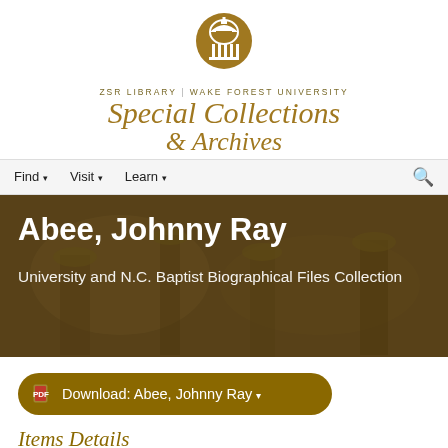[Figure (logo): ZSR Library Wake Forest University Special Collections & Archives logo with dome icon]
ZSR LIBRARY | WAKE FOREST UNIVERSITY Special Collections & Archives
Find ▾   Visit ▾   Learn ▾
Abee, Johnny Ray
University and N.C. Baptist Biographical Files Collection
Download: Abee, Johnny Ray ▾
Items Details